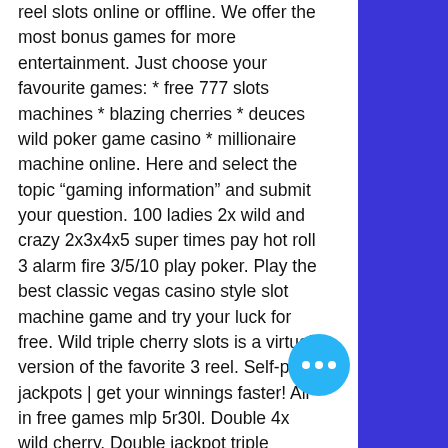reel slots online or offline. We offer the most bonus games for more entertainment. Just choose your favourite games: * free 777 slots machines * blazing cherries * deuces wild poker game casino * millionaire machine online. Here and select the topic “gaming information” and submit your question. 100 ladies 2x wild and crazy 2x3x4x5 super times pay hot roll 3 alarm fire 3/5/10 play poker. Play the best classic vegas casino style slot machine game and try your luck for free. Wild triple cherry slots is a virtual version of the favorite 3 reel. Self-pay jackpots | get your winnings faster! All in free games mlp 5r30l. Double 4x wild cherry. Double jackpot triple blazing 7’s gold winners Only DoubleUCasino gives you slots with the BEST characters, graphics, bonus games, and more, buy triple wild cherry slot ma… game.
Engage in 5 Greeting card Attract free of